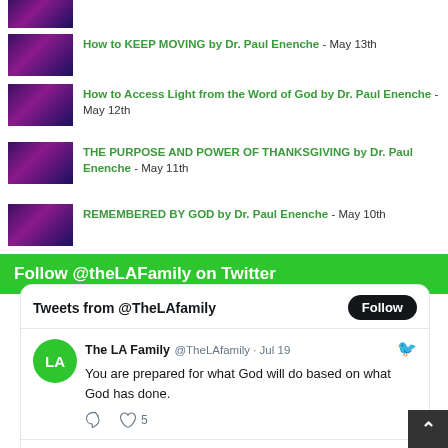[Figure (screenshot): Partial video thumbnail at top of page]
How to KEEP MOVING by Dr. Paul Enenche - May 13th
How to Access Light from the Word of God by Dr. Paul Enenche - May 12th
THE PURPOSE AND POWER OF THANKSGIVING by Dr. Paul Enenche - May 11th
REMEMBERED BY GOD by Dr. Paul Enenche - May 10th
Follow @theLAFamily on Twitter
[Figure (screenshot): Twitter widget showing Tweets from @TheLAfamily with Follow button and a tweet from The LA Family @TheLAfamily Jul 19: You are prepared for what God will do based on what God has done. With 5 likes.]